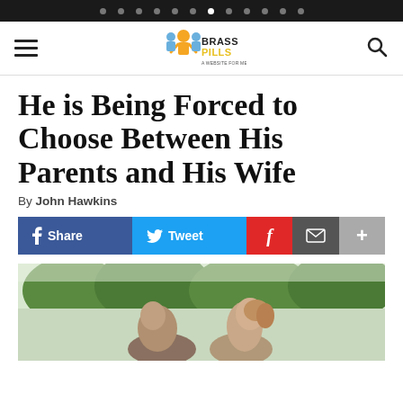Navigation dots bar
Brass Pills site header with hamburger menu and search icon
He is Being Forced to Choose Between His Parents and His Wife
By John Hawkins
Share | Tweet | Flipboard | Email | More
[Figure (photo): A couple (man and woman) outdoors with trees in background, looking at each other closely]